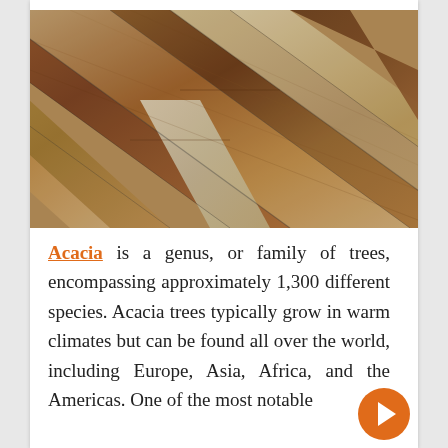[Figure (photo): Close-up photograph of acacia wood flooring planks showing varied warm brown, reddish, and pale grain patterns arranged diagonally]
Acacia is a genus, or family of trees, encompassing approximately 1,300 different species. Acacia trees typically grow in warm climates but can be found all over the world, including Europe, Asia, Africa, and the Americas. One of the most notable